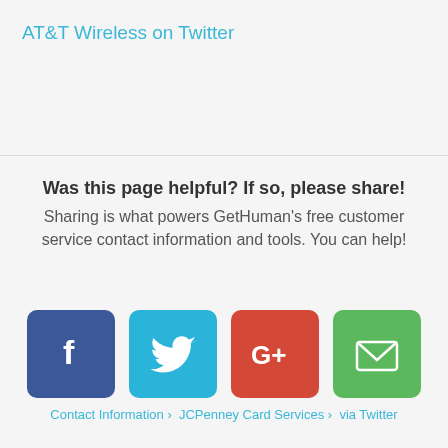AT&T Wireless on Twitter
Was this page helpful? If so, please share!
Sharing is what powers GetHuman's free customer service contact information and tools. You can help!
[Figure (infographic): Four social sharing buttons: Facebook (blue), Twitter (light blue), Google+ (red), Email (green)]
Contact Information › JCPenney Card Services › via Twitter